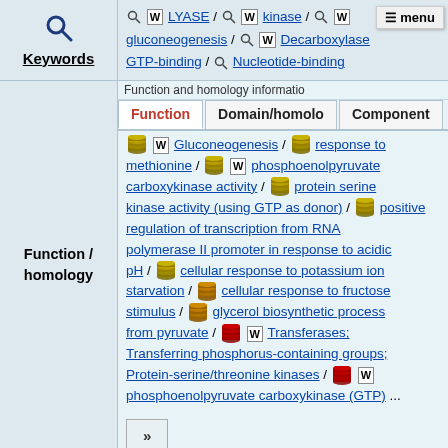LYASE / kinase / gluconeogenesis / Decarboxylase / GTP-binding / Nucleotide-binding
Keywords
[Figure (screenshot): Menu button overlay in top right]
Function and homology information
Function / homology
Function tab active. Domain/homology and Component tabs also shown.
Gluconeogenesis / response to methionine / phosphoenolpyruvate carboxykinase activity / protein serine kinase activity (using GTP as donor) / positive regulation of transcription from RNA polymerase II promoter in response to acidic pH / cellular response to potassium ion starvation / cellular response to fructose stimulus / glycerol biosynthetic process from pyruvate / Transferases; Transferring phosphorus-containing groups; Protein-serine/threonine kinases / phosphoenolpyruvate carboxykinase (GTP) ...
» (more button)
Similarity search - Function